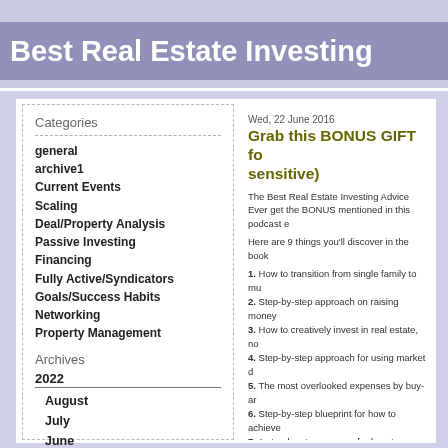Best Real Estate Investing
Categories
general
archive1
Current Events
Scaling
Deal/Property Analysis
Passive Investing
Financing
Fully Active/Syndicators
Goals/Success Habits
Networking
Property Management
Archives
2022
August
July
June
May
April
Wed, 22 June 2016
Grab this BONUS GIFT fo sensitive)
The Best Real Estate Investing Advice Ever get the BONUS mentioned in this podcast e
Here are 9 things you'll discover in the book
1. How to transition from single family to mu
2. Step-by-step approach on raising money
3. How to creatively invest in real estate, no
4. Step-by-step approach for using market d
5. The most overlooked expenses by buy-ar
6. Step-by-step blueprint for how to achieve
7. A step-by-step process for how to success
8. How lenders evaluate your loan applicatio
9. A creative financing method for newbie in
PLUS, ALL PROFITS FROM BOOK SALES getting the book, and help kids in under-serv
Get it here: https://amzn.com/B01GQFYMM